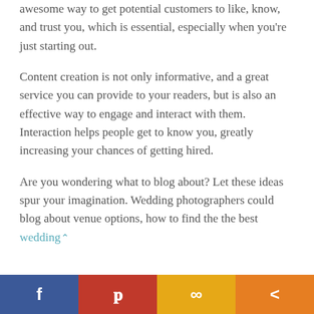awesome way to get potential customers to like, know, and trust you, which is essential, especially when you're just starting out.
Content creation is not only informative, and a great service you can provide to your readers, but is also an effective way to engage and interact with them. Interaction helps people get to know you, greatly increasing your chances of getting hired.
Are you wondering what to blog about? Let these ideas spur your imagination. Wedding photographers could blog about venue options, how to find the the best wedding↑